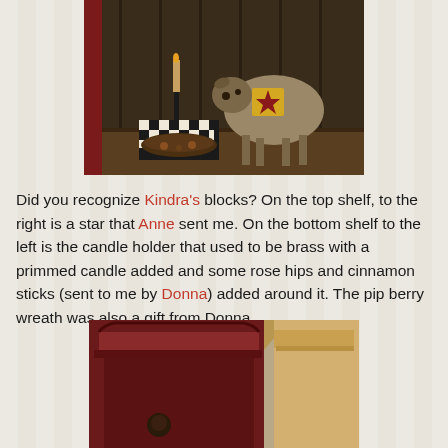[Figure (photo): Shelf scene with a primitive fabric sheep figure with a yellow patch and red star, a black candlestick holder with candle on a decorative tray, on dark wood shelving with red trim]
Did you recognize Kindra's blocks? On the top shelf, to the right is a star that Anne sent me. On the bottom shelf to the left is the candle holder that used to be brass with a primmed candle added and some rose hips and cinnamon sticks (sent to me by Donna) added around it. The pip berry wreath was also a gift from Donna.
[Figure (photo): Close-up of dark red/burgundy painted wooden cabinet or hutch top with crown molding, next to a lighter natural wood piece, with decorative items inside]